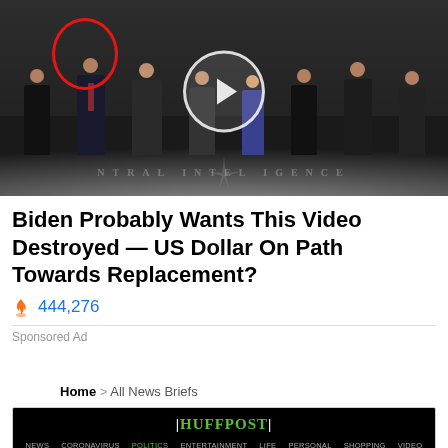[Figure (photo): Group of men in suits standing on CIA lobby seal floor, with a red circle highlighting one person on the left, and a video play button overlay in the center]
Biden Probably Wants This Video Destroyed — US Dollar On Path Towards Replacement?
🔥 444,276
Sponsored Ad
Home > All News Briefs
[Figure (screenshot): HuffPost website screenshot showing navigation bar with NEWS, CORONAVIRUS, POLITICS, ENTERTAINMENT, LIFE, PERSONAL, SHOPPING, VIDEO and a Politace article: Alex Jones Just Lost 2 Sandy Hook Cases]